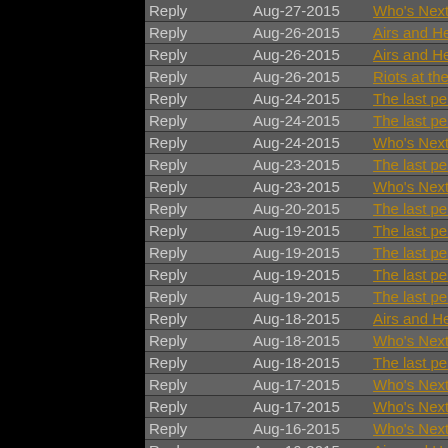| Type | Date | Thread |
| --- | --- | --- |
| Reply | Aug-27-2015 | Who's Next? |
| Reply | Aug-26-2015 | Airs and Heiresses |
| Reply | Aug-26-2015 | Airs and Heiresses |
| Reply | Aug-26-2015 | Riots at the racetrack? |
| Reply | Aug-24-2015 | The last person to post wins |
| Reply | Aug-24-2015 | The last person to post wins |
| Reply | Aug-24-2015 | Who's Next? |
| Reply | Aug-23-2015 | The last person to post wins |
| Reply | Aug-23-2015 | Who's Next? |
| Reply | Aug-20-2015 | The last person to post wins |
| Reply | Aug-19-2015 | The last person to post wins |
| Reply | Aug-19-2015 | The last person to post wins |
| Reply | Aug-19-2015 | The last person to post wins |
| Reply | Aug-19-2015 | The last person to post wins |
| Reply | Aug-18-2015 | Airs and Heiresses |
| Reply | Aug-18-2015 | Who's Next? |
| Reply | Aug-18-2015 | The last person to post wins |
| Reply | Aug-17-2015 | Who's Next? |
| Reply | Aug-17-2015 | Who's Next? |
| Reply | Aug-16-2015 | Who's Next? |
| Reply | Aug-16-2015 | Airs and Heiresses |
| Reply | Aug-16-2015 | Airs and Heiresses |
| Reply | Aug-16-2015 | Airs and Heiresses |